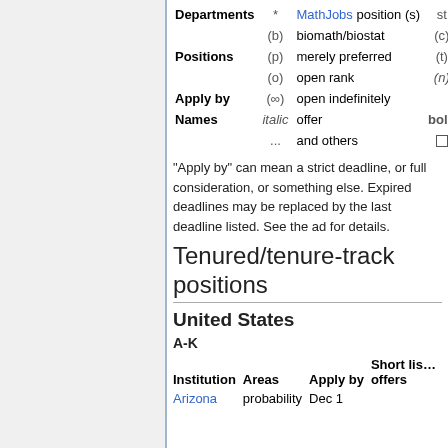|  |  |  |  |  |
| --- | --- | --- | --- | --- |
| Departments | * | MathJobs position(s) | st… |  |
|  | (b) | biomath/biostat | (c) | co… |
| Positions | (p) | merely preferred | (t) | te… |
|  | (o) | open rank | (n) | n… |
| Apply by | (∞) | open indefinitely |  |  |
| Names | italic | offer | bold | ad… |
|  | ... | and others | □ | se… |
"Apply by" can mean a strict deadline, or full consideration, or something else. Expired deadlines may be replaced by the last deadline listed. See the ad for details.
Tenured/tenure-track positions
United States
A-K
| Institution | Areas | Apply by | Short lis… offers |
| --- | --- | --- | --- |
| Arizona | probability | Dec 1 |  |